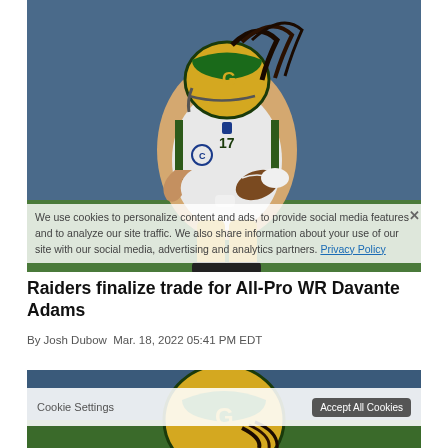[Figure (photo): Green Bay Packers wide receiver Davante Adams wearing #17 jersey with captain C patch, green/gold helmet, running with football tucked under arm, against blue background in an NFL stadium]
Raiders finalize trade for All-Pro WR Davante Adams
By Josh Dubow Mar. 18, 2022 05:41 PM EDT
[Figure (photo): Second photo of Davante Adams in Green Bay Packers green and gold helmet, partially visible at bottom of page]